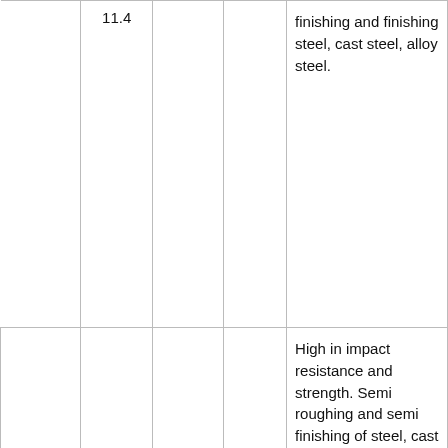| Grade | Density (g/cm³) | Hardness (HRA) | TRS (MPa) | Applications |
| --- | --- | --- | --- | --- |
|  | 11.4 |  |  | finishing and finishing steel, cast steel, alloy steel. |
| YT14 | 11.3-11.6 | 91.3-92.3 | 1450 | High in impact resistance and strength. Semi roughing and semi finishing of steel, cast steel and alloy steel. |
|  |  |  |  | High red hardness |